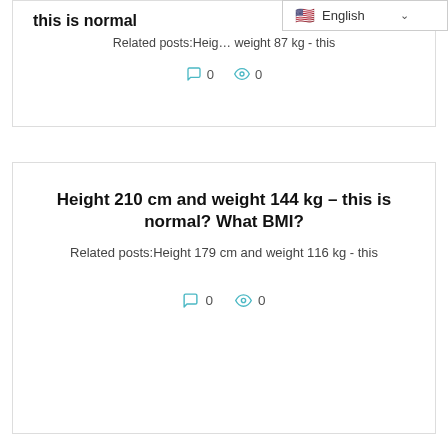[Figure (screenshot): Language selector widget showing US flag and 'English' with dropdown arrow]
this is normal
Related posts:Height … weight 87 kg - this
0  0 (comment and view counts)
Height 210 cm and weight 144 kg – this is normal? What BMI?
Related posts:Height 179 cm and weight 116 kg - this
0  0 (comment and view counts)